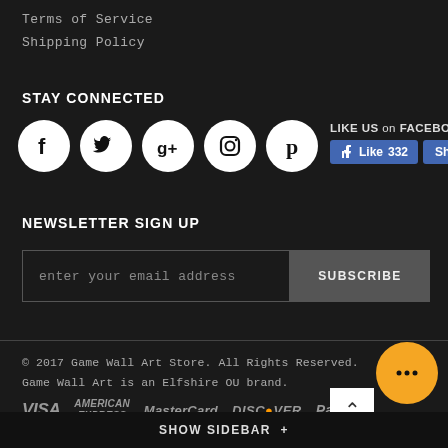Terms of Service
Shipping Policy
STAY CONNECTED
[Figure (illustration): Five social media icon circles: Facebook, Twitter, Google+, Instagram, Pinterest]
[Figure (illustration): Facebook Like widget with 'LIKE US on FACEBOOK' text, Like 332 button and Share button]
NEWSLETTER SIGN UP
enter your email address [input field] SUBSCRIBE [button]
© 2017 Game Wall Art Store. All Rights Reserved.
Game Wall Art is an Elfshire OU brand.
[Figure (illustration): Payment method logos: VISA, AMERICAN EXPRESS, MasterCard, DISCOVER, PayPal]
SHOW SIDEBAR +